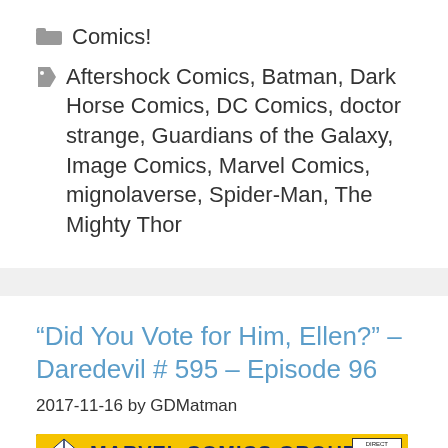Comics!
Aftershock Comics, Batman, Dark Horse Comics, DC Comics, doctor strange, Guardians of the Galaxy, Image Comics, Marvel Comics, mignolaverse, Spider-Man, The Mighty Thor
“Did You Vote for Him, Ellen?” – Daredevil # 595 – Episode 96
2017-11-16 by GDMatman
[Figure (photo): Marvel Comics Group comic book cover showing a yellow banner with a diamond logo and MARVEL COMICS GROUP text, with a direct edition variant box in the top right corner, and partial comic art visible at the bottom with a red Marvel logo strip.]